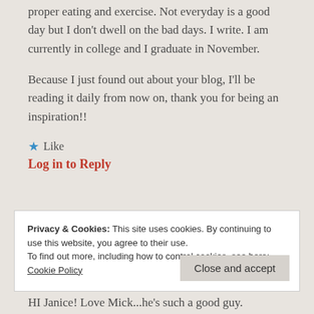proper eating and exercise. Not everyday is a good day but I don't dwell on the bad days. I write. I am currently in college and I graduate in November.
Because I just found out about your blog, I'll be reading it daily from now on, thank you for being an inspiration!!
★ Like
Log in to Reply
Privacy & Cookies: This site uses cookies. By continuing to use this website, you agree to their use.
To find out more, including how to control cookies, see here: Cookie Policy
Close and accept
HI Janice! Love Mick...he's such a good guy.